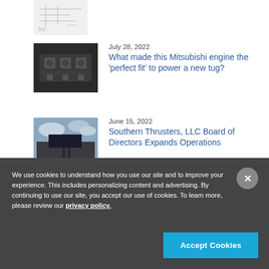[Figure (illustration): Partial sketch/diagram image at top of page, appears to be a hand-drawn or blueprint-style figure, cropped]
July 28, 2022
What made this Mitsubishi engine the 'perfect fit' to power a new tug?
[Figure (photo): Black and white photo of a Mitsubishi engine]
June 15, 2022
Southern Thrusters, LLC Board of Directors Expands Operations
[Figure (photo): Photo of a building exterior with a sign, cloudy sky background]
We use cookies to understand how you use our site and to improve your experience. This includes personalizing content and advertising. By continuing to use our site, you accept our use of cookies. To learn more, please review our privacy policy.